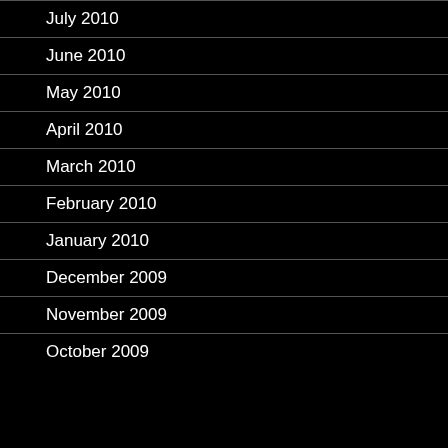July 2010
June 2010
May 2010
April 2010
March 2010
February 2010
January 2010
December 2009
November 2009
October 2009